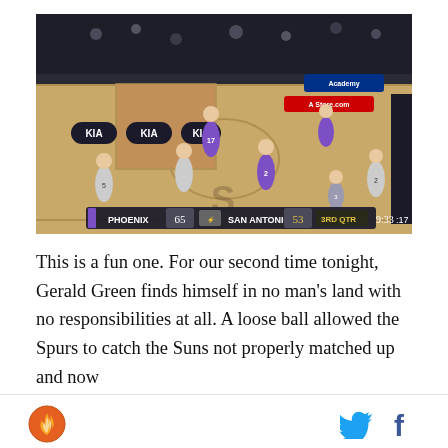[Figure (screenshot): NBA game broadcast screenshot showing Phoenix Suns vs San Antonio Spurs basketball game. Scoreboard shows PHOENIX 65, SAN ANTONIO 53, 3RD QTR, 9:33, :17. Players visible on court, crowd in background, KIA advertisements on boards.]
This is a fun one. For our second time tonight, Gerald Green finds himself in no man's land with no responsibilities at all. A loose ball allowed the Spurs to catch the Suns not properly matched up and now
[Figure (logo): Phoenix Suns flame logo (orange circle with flame design) and Twitter bird icon and Facebook 'f' icon in the footer bar.]